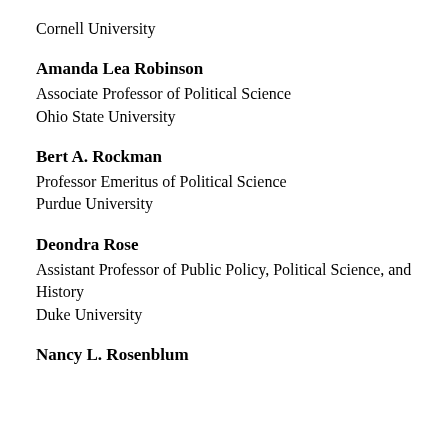Cornell University
Amanda Lea Robinson
Associate Professor of Political Science
Ohio State University
Bert A. Rockman
Professor Emeritus of Political Science
Purdue University
Deondra Rose
Assistant Professor of Public Policy, Political Science, and History
Duke University
Nancy L. Rosenblum